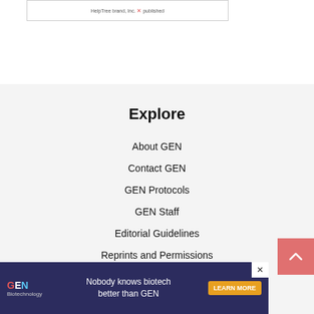[Figure (screenshot): Small image box with HelpTree brand logo text and an X icon, partially visible at top]
Explore
About GEN
Contact GEN
GEN Protocols
GEN Staff
Editorial Guidelines
Reprints and Permissions
Scientific Advisory Board
[Figure (logo): GEN Biotechnology advertisement banner: 'Nobody knows biotech better than GEN' with LEARN MORE button and close X]